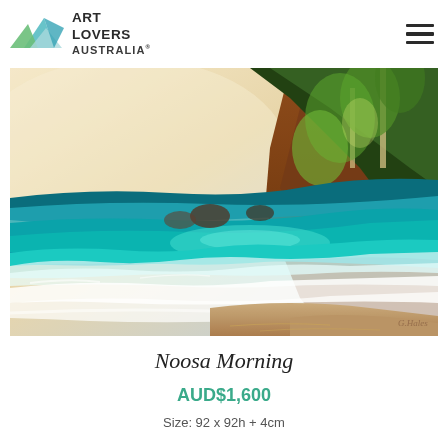ART LOVERS AUSTRALIA
[Figure (illustration): A realistic oil/pastel painting of a coastal beach scene titled 'Noosa Morning'. Shows vivid turquoise ocean waves lapping onto a sandy beach with dense green eucalyptus trees on rocky cliffs on the right side, and a warm pale sky on the left. Artist signature visible in the bottom right corner.]
Noosa Morning
AUD$1,600
Size: 92 x 92h + 4cm